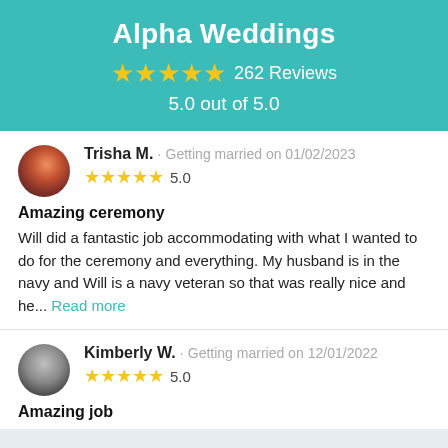Alpha Weddings
★★★★★ 262 Reviews
5.0 out of 5.0
Trisha M. · Getting married on 01/02/2023 ★★★★★ 5.0
Amazing ceremony
Will did a fantastic job accommodating with what I wanted to do for the ceremony and everything. My husband is in the navy and Will is a navy veteran so that was really nice and he... Read more
Kimberly W. · Getting married on 12/01/2022 ★★★★★ 5.0
Amazing job